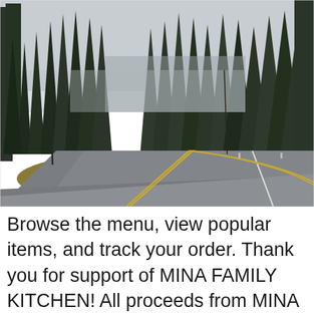[Figure (photo): A winding two-lane highway curving to the right through a dense forest of tall evergreen trees. The sky is overcast and misty. The median shows dry golden grass. The road has a double yellow center line and white edge lines.]
Browse the menu, view popular items, and track your order. Thank you for support of MINA FAMILY KITCHEN! All proceeds from MINA FAMILY KITCHEN directly go back to our employees and to our MINA Family Meal program where we provide